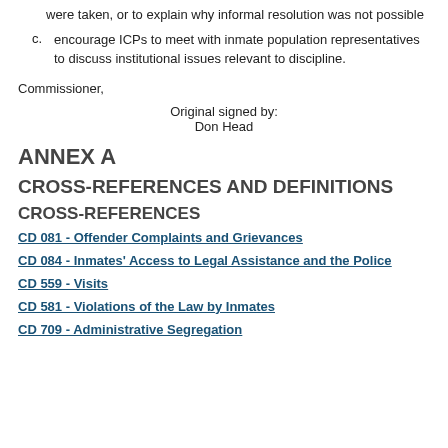were taken, or to explain why informal resolution was not possible
c. encourage ICPs to meet with inmate population representatives to discuss institutional issues relevant to discipline.
Commissioner,
Original signed by:
Don Head
ANNEX A
CROSS-REFERENCES AND DEFINITIONS
CROSS-REFERENCES
CD 081 - Offender Complaints and Grievances
CD 084 - Inmates' Access to Legal Assistance and the Police
CD 559 - Visits
CD 581 - Violations of the Law by Inmates
CD 709 - Administrative Segregation